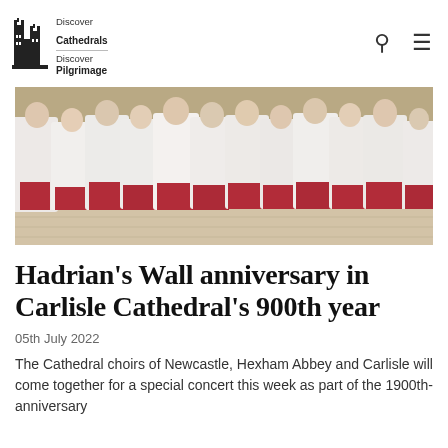Discover Cathedrals Discover Pilgrimage
[Figure (photo): Group of cathedral choir boys dressed in white surplices and red cassocks, standing in a row inside a cathedral.]
Hadrian's Wall anniversary in Carlisle Cathedral's 900th year
05th July 2022
The Cathedral choirs of Newcastle, Hexham Abbey and Carlisle will come together for a special concert this week as part of the 1900th-anniversary